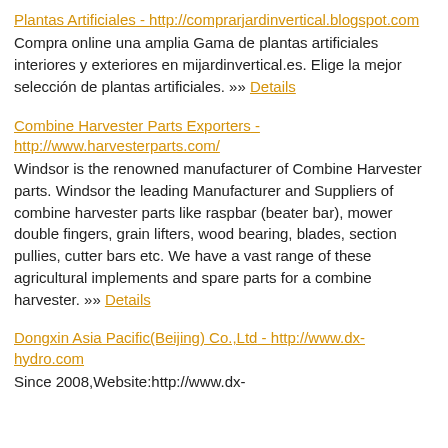Plantas Artificiales - http://comprarjardinvertical.blogspot.com
Compra online una amplia Gama de plantas artificiales interiores y exteriores en mijardinvertical.es. Elige la mejor selección de plantas artificiales. »» Details
Combine Harvester Parts Exporters - http://www.harvesterparts.com/
Windsor is the renowned manufacturer of Combine Harvester parts. Windsor the leading Manufacturer and Suppliers of combine harvester parts like raspbar (beater bar), mower double fingers, grain lifters, wood bearing, blades, section pullies, cutter bars etc. We have a vast range of these agricultural implements and spare parts for a combine harvester. »» Details
Dongxin Asia Pacific(Beijing) Co.,Ltd - http://www.dx-hydro.com
Since 2008,Website:http://www.dx-